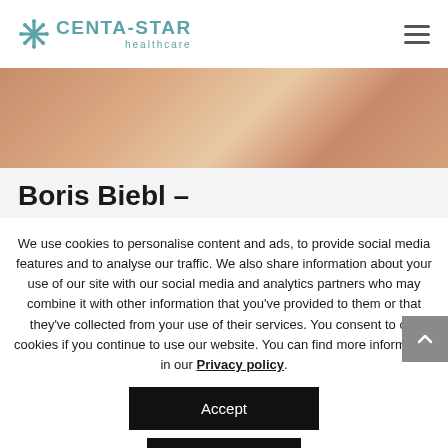CENTA-STAR healthcare
[Figure (photo): Cropped photo of a person with arms crossed, skin visible, appearing to be a healthcare professional or patient]
Boris Biebl –
We use cookies to personalise content and ads, to provide social media features and to analyse our traffic. We also share information about your use of our site with our social media and analytics partners who may combine it with other information that you've provided to them or that they've collected from your use of their services. You consent to our cookies if you continue to use our website. You can find more information in our Privacy policy.
Accept
Reject